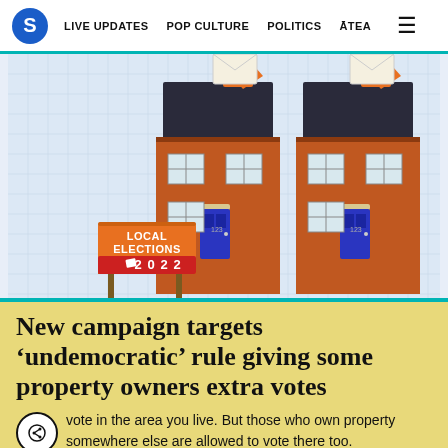S  LIVE UPDATES  POP CULTURE  POLITICS  ĀTEA  ☰
[Figure (illustration): Illustration of two terraced brick houses with blue front doors and dark roofs, each with an orange hand posting a white envelope through the roof/letterbox. On the left is an orange billboard sign reading 'LOCAL ELECTIONS 2022'. Background is a light blue grid pattern. Blue borders on left and right sides.]
New campaign targets 'undemocratic' rule giving some property owners extra votes
vote in the area you live. But those who own property somewhere else are allowed to vote there too.